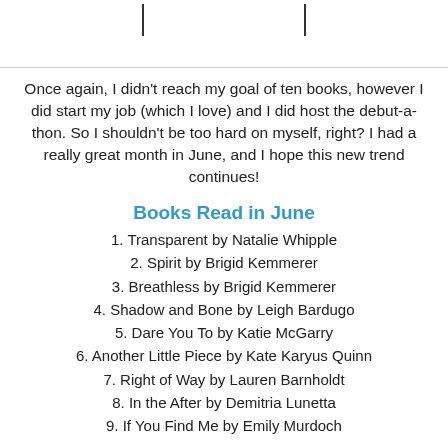[Figure (other): Top portion of a page with tick marks visible at the top, partial image cut off]
Once again, I didn't reach my goal of ten books, however I did start my job (which I love) and I did host the debut-a-thon. So I shouldn't be too hard on myself, right? I had a really great month in June, and I hope this new trend continues!
Books Read in June
1. Transparent by Natalie Whipple
2. Spirit by Brigid Kemmerer
3. Breathless by Brigid Kemmerer
4. Shadow and Bone by Leigh Bardugo
5. Dare You To by Katie McGarry
6. Another Little Piece by Kate Karyus Quinn
7. Right of Way by Lauren Barnholdt
8. In the After by Demitria Lunetta
9. If You Find Me by Emily Murdoch
Currently Reading:
A Storm of Swords P.2 by George R. R. Martin
Ten by Gretchen McNeil